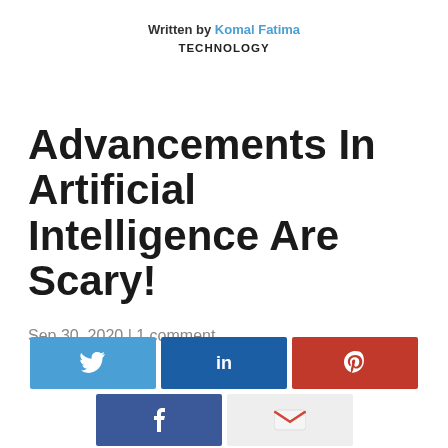Written by Komal Fatima
TECHNOLOGY
Advancements In Artificial Intelligence Are Scary!
Sep 30, 2020 | 1 comment
[Figure (other): Social share buttons: Twitter, LinkedIn, Pinterest, Facebook, Gmail]